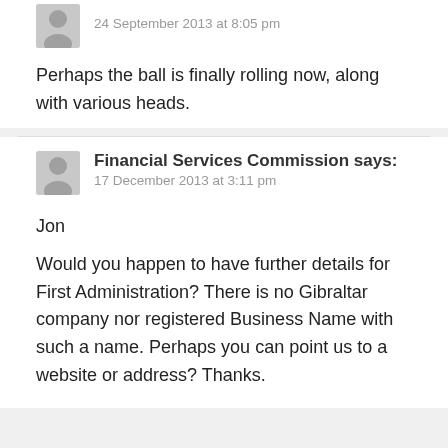24 September 2013 at 8:05 pm
Perhaps the ball is finally rolling now, along with various heads.
Financial Services Commission says:
17 December 2013 at 3:11 pm
Jon
Would you happen to have further details for First Administration? There is no Gibraltar company nor registered Business Name with such a name. Perhaps you can point us to a website or address? Thanks.